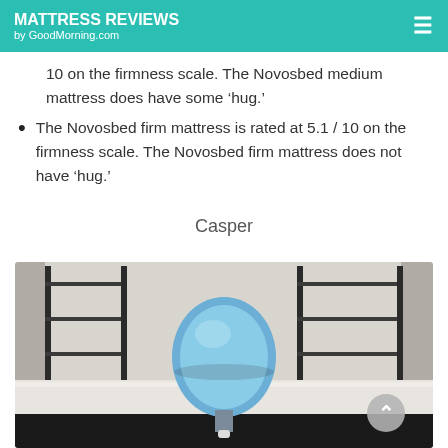MATTRESS REVIEWS by GoodMorning.com
10 on the firmness scale. The Novosbed medium mattress does have some ‘hug.’
The Novosbed firm mattress is rated at 5.1 / 10 on the firmness scale. The Novosbed firm mattress does not have ‘hug.’
Casper
[Figure (photo): Photo of a blue water jug placed on a white mattress in a studio setting with metal shelving and a grey curtain backdrop, used for mattress firmness testing.]